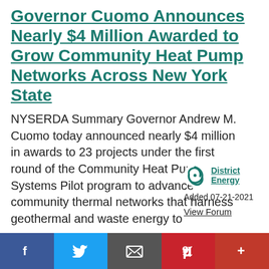Governor Cuomo Announces Nearly $4 Million Awarded to Grow Community Heat Pump Networks Across New York State
NYSERDA Summary Governor Andrew M. Cuomo today announced nearly $4 million in awards to 23 projects under the first round of the Community Heat Pump Systems Pilot program to advance community thermal networks that harness geothermal and waste energy to
[Figure (logo): District Energy organization logo — a circular swirl icon in dark teal/green]
District Energy
Added 07-21-2021
View Forum
f  Twitter  Email  Pinterest  +